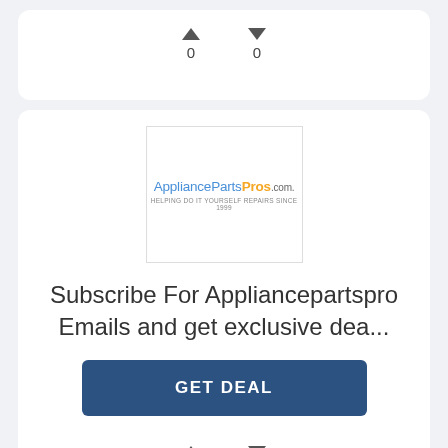[Figure (screenshot): Top card with upvote and downvote arrows showing count 0 each]
[Figure (logo): AppliancePartsPros.com logo in a bordered box]
Subscribe For Appliancepartspro Emails and get exclusive dea...
GET DEAL
[Figure (screenshot): Bottom card with upvote and downvote arrows showing count 0 each]